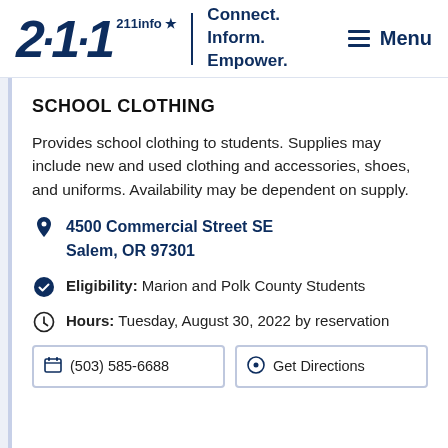[Figure (logo): 211info logo with star, tagline Connect. Inform. Empower., and Menu button]
SCHOOL CLOTHING
Provides school clothing to students. Supplies may include new and used clothing and accessories, shoes, and uniforms. Availability may be dependent on supply.
4500 Commercial Street SE
Salem, OR 97301
Eligibility: Marion and Polk County Students
Hours: Tuesday, August 30, 2022 by reservation
(503) 585-6688
Get Directions